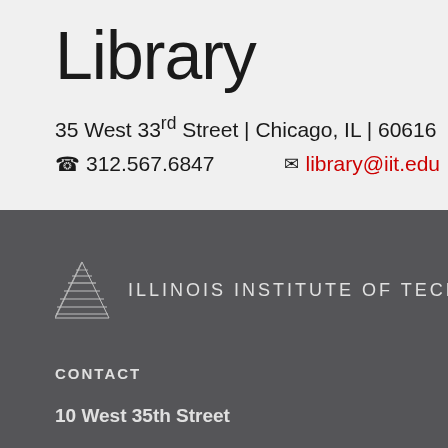Library
35 West 33rd Street | Chicago, IL | 60616
312.567.6847  library@iit.edu
[Figure (logo): Illinois Institute of Technology logo with triangular graphic mark and wordmark text]
CONTACT
10 West 35th Street